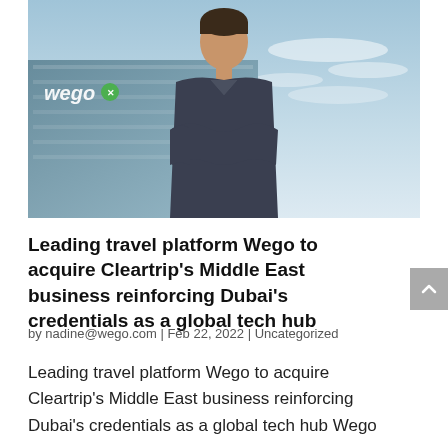[Figure (photo): A man in a dark shirt standing with arms crossed in front of a glass building with a Wego logo sign, against a blue sky background.]
Leading travel platform Wego to acquire Cleartrip's Middle East business reinforcing Dubai's credentials as a global tech hub
by nadine@wego.com | Feb 22, 2022 | Uncategorized
Leading travel platform Wego to acquire Cleartrip's Middle East business reinforcing Dubai's credentials as a global tech hub Wego